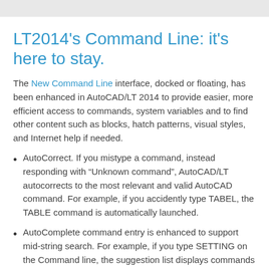LT2014's Command Line: it's here to stay.
The New Command Line interface, docked or floating, has been enhanced in AutoCAD/LT 2014 to provide easier, more efficient access to commands, system variables and to find other content such as blocks, hatch patterns, visual styles, and Internet help if needed.
AutoCorrect. If you mistype a command, instead responding with “Unknown command”, AutoCAD/LT autocorrects to the most relevant and valid AutoCAD command. For example, if you accidently type TABEL, the TABLE command is automatically launched.
AutoComplete command entry is enhanced to support mid-string search. For example, if you type SETTING on the Command line, the suggestion list displays commands containing the word SETTING anywhere within it, not just at the beginning.
Adaptive Suggestion: As you continue to use